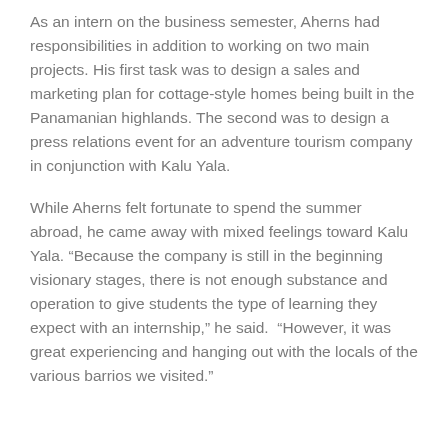As an intern on the business semester, Aherns had responsibilities in addition to working on two main projects. His first task was to design a sales and marketing plan for cottage-style homes being built in the Panamanian highlands. The second was to design a press relations event for an adventure tourism company in conjunction with Kalu Yala.
While Aherns felt fortunate to spend the summer abroad, he came away with mixed feelings toward Kalu Yala. “Because the company is still in the beginning visionary stages, there is not enough substance and operation to give students the type of learning they expect with an internship,” he said.  “However, it was great experiencing and hanging out with the locals of the various barrios we visited.”